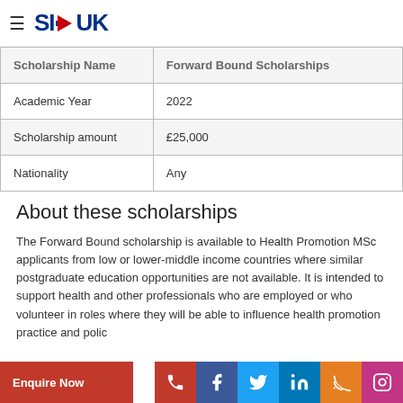SI-UK
| Scholarship Name | Forward Bound Scholarships |
| --- | --- |
| Academic Year | 2022 |
| Scholarship amount | £25,000 |
| Nationality | Any |
About these scholarships
The Forward Bound scholarship is available to Health Promotion MSc applicants from low or lower-middle income countries where similar postgraduate education opportunities are not available. It is intended to support health and other professionals who are employed or who volunteer in roles where they will be able to influence health promotion practice and policy.